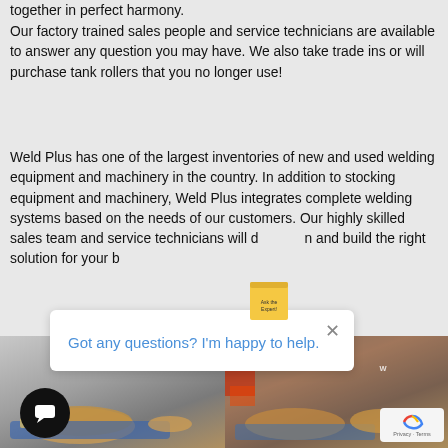together in perfect harmony.
Our factory trained sales people and service technicians are available to answer any question you may have. We also take trade ins or will purchase tank rollers that you no longer use!
Weld Plus has one of the largest inventories of new and used welding equipment and machinery in the country. In addition to stocking equipment and machinery, Weld Plus integrates complete welding systems based on the needs of our customers. Our highly skilled sales team and service technicians will d[sticky note]n and build the right solution for your b[obscured] W[obscured]urn to someone they can t[obscured]
[Figure (screenshot): Chat popup overlay with close X button and blue text 'Got any questions? I'm happy to help.' A sticky note icon overlaps the background text. A circular chat bubble icon is at bottom left.]
[Figure (photo): Two photographs side by side showing tank roller / welding rotator equipment. Left image shows a blue and yellow tank roller with WELDPLUS watermark. Right image shows similar industrial roller equipment with WELDPLUS watermark and a reCAPTCHA badge in bottom right.]